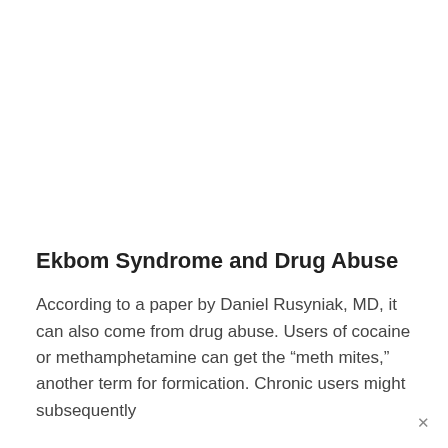Ekbom Syndrome and Drug Abuse
According to a paper by Daniel Rusyniak, MD, it can also come from drug abuse. Users of cocaine or methamphetamine can get the “meth mites,” another term for formication. Chronic users might subsequently